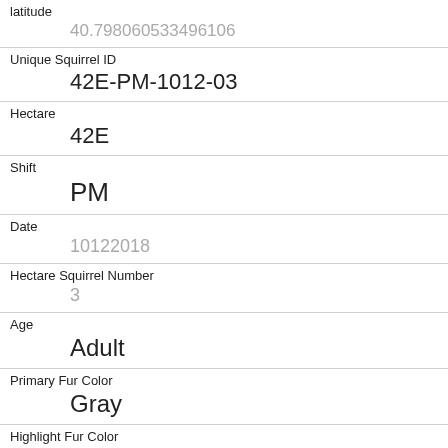| latitude | 40.798060533496106 |
| Unique Squirrel ID | 42E-PM-1012-03 |
| Hectare | 42E |
| Shift | PM |
| Date | 10122018 |
| Hectare Squirrel Number | 3 |
| Age | Adult |
| Primary Fur Color | Gray |
| Highlight Fur Color | White |
| Combination of Primary and Highlight Color | Gray+White |